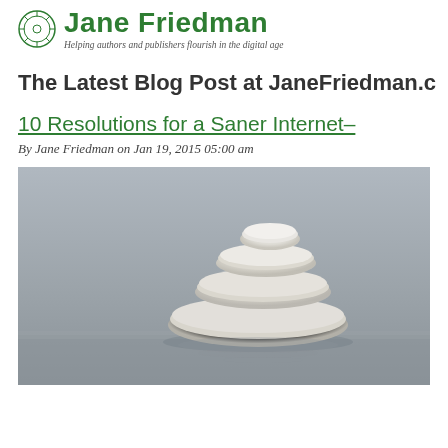Jane Friedman — Helping authors and publishers flourish in the digital age
The Latest Blog Post at JaneFriedman.c
10 Resolutions for a Saner Internet–
By Jane Friedman on Jan 19, 2015 05:00 am
[Figure (photo): Stacked smooth white zen stones balanced on a reflective surface against a gray background]